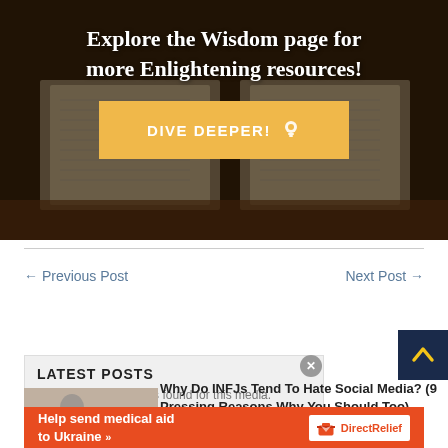[Figure (photo): Open books on a wooden desk with dark background and overlay, hero banner image]
Explore the Wisdom page for more Enlightening resources!
DIVE DEEPER! 💡
← Previous Post
Next Post →
[Figure (other): Scroll to top button with upward arrow on dark navy background]
LATEST POSTS
No compatible sources found for this media.
Why Do INFJs Tend To Hate Social Media? (9 Pressing Reasons Why You Should Too)
[Figure (other): Help send medical aid to Ukraine - Direct Relief advertisement banner]